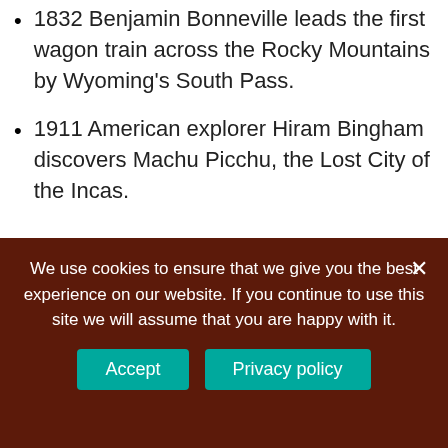1832 Benjamin Bonneville leads the first wagon train across the Rocky Mountains by Wyoming's South Pass.
1911 American explorer Hiram Bingham discovers Machu Picchu, the Lost City of the Incas.
What happened January 24th 1961?
January 24, 1961 (Tuesday) A B-52 Stratofortress, with
We use cookies to ensure that we give you the best experience on our website. If you continue to use this site we will assume that you are happy with it.